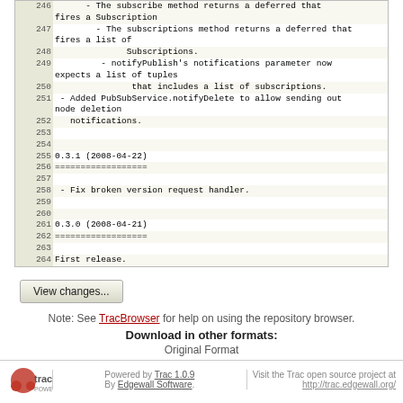| line | content |
| --- | --- |
| 246 |       - The subscribe method returns a deferred that fires a Subscription |
| 247 |         - The subscriptions method returns a deferred that fires a list of |
| 248 |               Subscriptions. |
| 249 |          - notifyPublish's notifications parameter now expects a list of tuples |
| 250 |                that includes a list of subscriptions. |
| 251 |  - Added PubSubService.notifyDelete to allow sending out node deletion |
| 252 |    notifications. |
| 253 |  |
| 254 |  |
| 255 | 0.3.1 (2008-04-22) |
| 256 | ================== |
| 257 |  |
| 258 |  - Fix broken version request handler. |
| 259 |  |
| 260 |  |
| 261 | 0.3.0 (2008-04-21) |
| 262 | ================== |
| 263 |  |
| 264 | First release. |
View changes...
Note: See TracBrowser for help on using the repository browser.
Download in other formats:
Original Format
Powered by Trac 1.0.9 By Edgewall Software. Visit the Trac open source project at http://trac.edgewall.org/